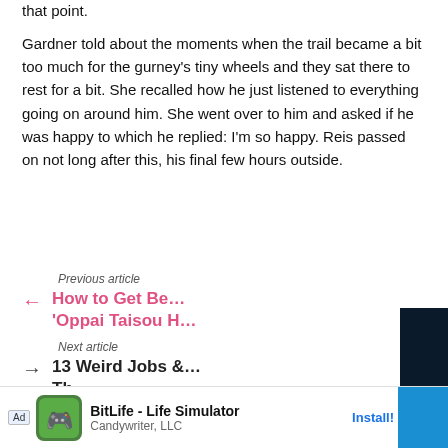that point.
Gardner told about the moments when the trail became a bit too much for the gurney’s tiny wheels and they sat there to rest for a bit. She recalled how he just listened to everything going on around him. She went over to him and asked if he was happy to which he replied: I’m so happy. Reis passed on not long after this, his final few hours outside.
Previous article
How to Get Be… ‘Oppai Taisou H…
Next article
13 Weird Jobs … Th…
[Figure (screenshot): Video player overlay with dark background showing 'THIS DAY IN HISTORY' text and blue geometric play button graphics]
[Figure (screenshot): Mobile app advertisement banner for BitLife - Life Simulator by Candywriter, LLC with Install button]